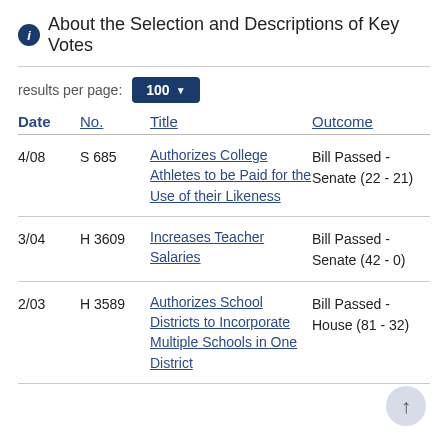About the Selection and Descriptions of Key Votes
results per page: 100
| Date | No. | Title | Outcome |
| --- | --- | --- | --- |
| 4/08 | S 685 | Authorizes College Athletes to be Paid for the Use of their Likeness | Bill Passed - Senate (22 - 21) |
| 3/04 | H 3609 | Increases Teacher Salaries | Bill Passed - Senate (42 - 0) |
| 2/03 | H 3589 | Authorizes School Districts to Incorporate Multiple Schools in One District | Bill Passed - House (81 - 32) |